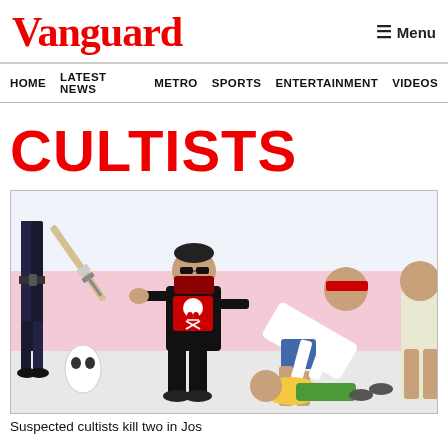Vanguard | Menu
HOME  LATEST NEWS  METRO  SPORTS  ENTERTAINMENT  VIDEOS
CULTISTS
[Figure (illustration): Cartoon illustration of two figures in a confrontational scene. One figure dressed in black with a skull-and-crossbones shirt and face covering holds a weapon. Another figure in a white shirt bends over a third person on the ground. A rifle is shown in the upper area of the image.]
Suspected cultists kill two in Jos